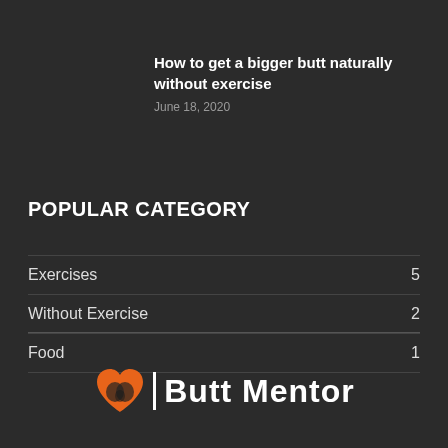How to get a bigger butt naturally without exercise
June 18, 2020
POPULAR CATEGORY
Exercises  5
Without Exercise  2
Food  1
[Figure (logo): Butt Mentor logo with orange heart icon and white text]